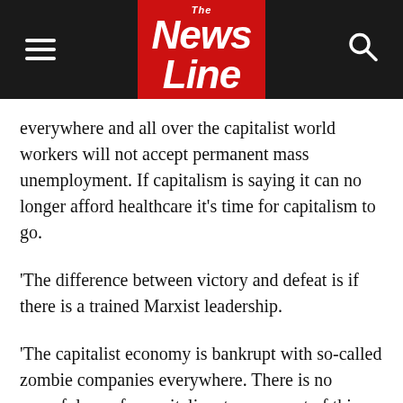News Line
everywhere and all over the capitalist world workers will not accept permanent mass unemployment. If capitalism is saying it can no longer afford healthcare it’s time for capitalism to go.
‘The difference between victory and defeat is if there is a trained Marxist leadership.
‘The capitalist economy is bankrupt with so-called zombie companies everywhere. There is no peaceful way for capitalism to come out of this.
‘The working class is expected to foot the bill, but the working class is pushing forward and the ruling class is terrified.
‘The ruling class is conscious of its weakness, but the